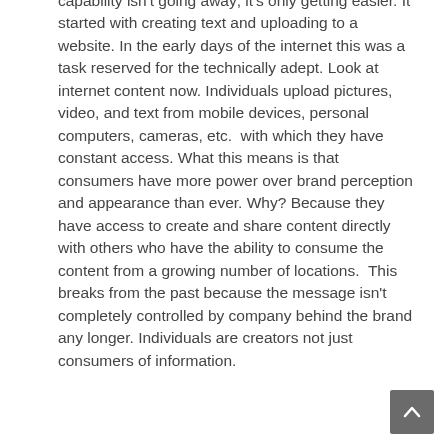capability isn't going away; it's only getting easier. It started with creating text and uploading to a website. In the early days of the internet this was a task reserved for the technically adept. Look at internet content now. Individuals upload pictures, video, and text from mobile devices, personal computers, cameras, etc.  with which they have constant access. What this means is that consumers have more power over brand perception and appearance than ever. Why? Because they have access to create and share content directly with others who have the ability to consume the content from a growing number of locations.  This breaks from the past because the message isn't completely controlled by company behind the brand any longer. Individuals are creators not just consumers of information.